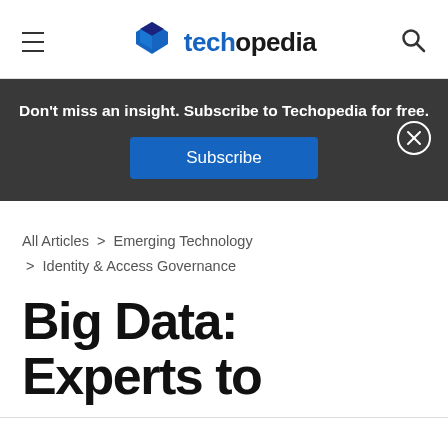techopedia
Don't miss an insight. Subscribe to Techopedia for free. Subscribe
All Articles > Emerging Technology > Identity & Access Governance
Big Data: Experts to